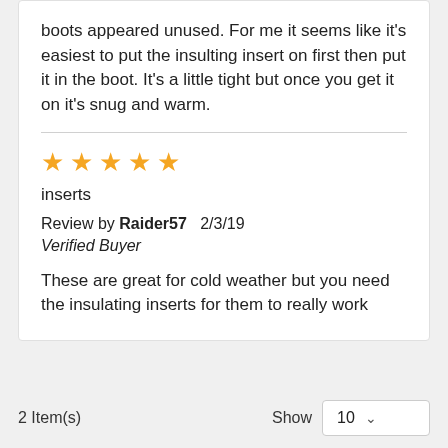boots appeared unused. For me it seems like it's easiest to put the insulting insert on first then put it in the boot. It's a little tight but once you get it on it's snug and warm.
inserts
Review by Raider57  2/3/19
Verified Buyer
These are great for cold weather but you need the insulating inserts for them to really work
2 Item(s)
Show  10